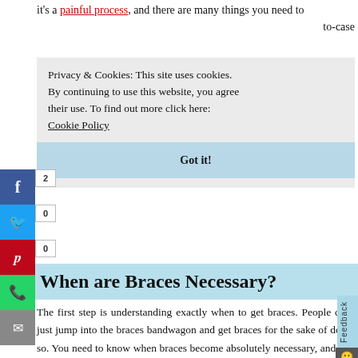it's a painful process, and there are many things you need to
to-case
Privacy & Cookies: This site uses cookies. By continuing to use this website, you agree their use. To find out more click here: Cookie Policy
Got it!
[Figure (infographic): Social media sharing sidebar with Facebook (2), Twitter (0), Pinterest (0), WhatsApp, and Email buttons]
When are Braces Necessary?
The first step is understanding exactly when to get braces. People can't just jump into the braces bandwagon and get braces for the sake of doing so. You need to know when braces become absolutely necessary, and you have to understand that